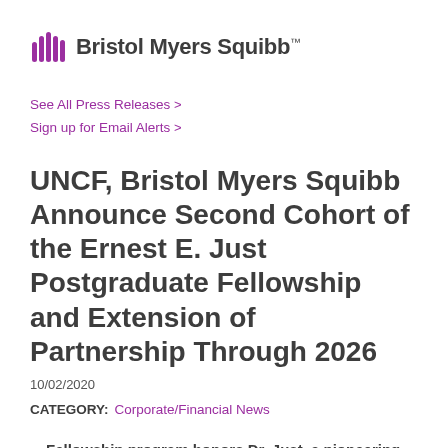[Figure (logo): Bristol Myers Squibb logo with purple hand/wave icon and company name in dark gray text]
See All Press Releases >
Sign up for Email Alerts >
UNCF, Bristol Myers Squibb Announce Second Cohort of the Ernest E. Just Postgraduate Fellowship and Extension of Partnership Through 2026
10/02/2020
CATEGORY: Corporate/Financial News
Fellowship program honors Dr. Just, a pioneering biologist and one of the most prominent African